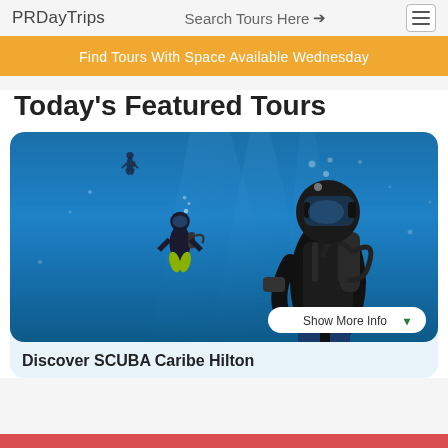PRDayTrips   Search Tours Here →   ☰
Find Tours With Space Available Wednesday
Today's Featured Tours
[Figure (photo): Underwater scuba diving photo showing three divers in clear blue Caribbean water. A diver in the foreground wears a black wetsuit and mask with scuba equipment. Two more divers are visible in the background ascending through blue water with light rays.]
Show More Info ▾
Discover SCUBA Caribe Hilton